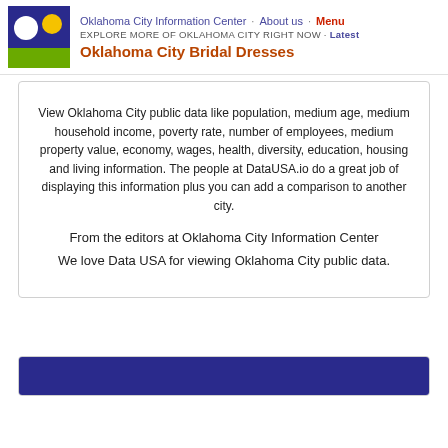Oklahoma City Information Center · About us · Menu
EXPLORE MORE OF OKLAHOMA CITY RIGHT NOW · Latest
Oklahoma City Bridal Dresses
View Oklahoma City public data like population, medium age, medium household income, poverty rate, number of employees, medium property value, economy, wages, health, diversity, education, housing and living information. The people at DataUSA.io do a great job of displaying this information plus you can add a comparison to another city.
From the editors at Oklahoma City Information Center
We love Data USA for viewing Oklahoma City public data.
[Figure (other): Blue bar at the bottom of the page, part of a new content card]